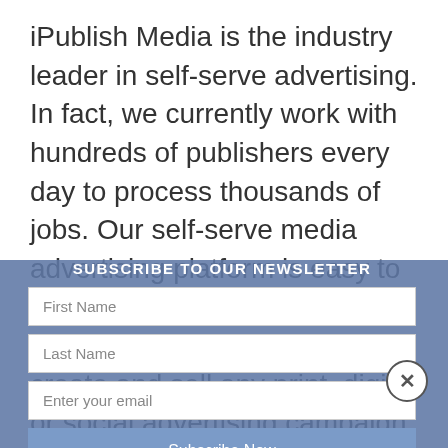iPublish Media is the industry leader in self-serve advertising. In fact, we currently work with hundreds of publishers every day to process thousands of jobs. Our self-serve media advertising platform is easy to use and provides the performance and versatility to create and sell any print, digital or social advertising campaign, for any product or platform. iPublish Media is one year of although we operate independently. For more information regarding iPublish Media tions, please visit https://ipublish.media/com
[Figure (other): Newsletter subscription modal overlay with fields for First Name, Last Name, Enter your email, and a Subscribe Now button. Title reads SUBSCRIBE TO OUR NEWSLETTER. A close (X) button appears at the top right of the modal.]